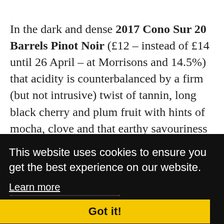In the dark and dense 2017 Cono Sur 20 Barrels Pinot Noir (£12 – instead of £14 until 26 April – at Morrisons and 14.5%) that acidity is counterbalanced by a firm (but not intrusive) twist of tannin, long black cherry and plum fruit with hints of mocha, clove and that earthy savouriness already mentioned which provides further
This website uses cookies to ensure you get the best experience on our website.
Learn more
Got it!